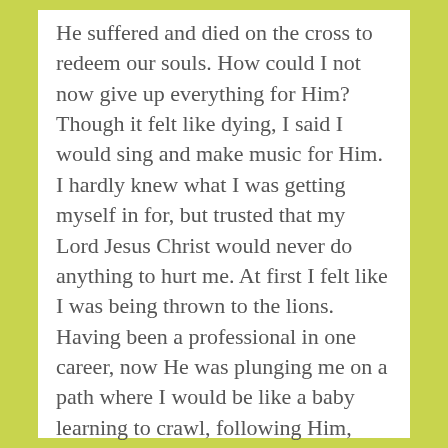He suffered and died on the cross to redeem our souls. How could I not now give up everything for Him? Though it felt like dying, I said I would sing and make music for Him. I hardly knew what I was getting myself in for, but trusted that my Lord Jesus Christ would never do anything to hurt me. At first I felt like I was being thrown to the lions. Having been a professional in one career, now He was plunging me on a path where I would be like a baby learning to crawl, following Him, whom I could only see and hear by faith. What is faith?